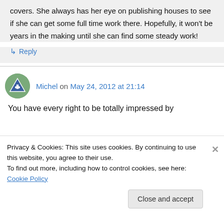covers. She always has her eye on publishing houses to see if she can get some full time work there. Hopefully, it won't be years in the making until she can find some steady work!
↳ Reply
Michel on May 24, 2012 at 21:14
You have every right to be totally impressed by
Privacy & Cookies: This site uses cookies. By continuing to use this website, you agree to their use.
To find out more, including how to control cookies, see here: Cookie Policy
Close and accept